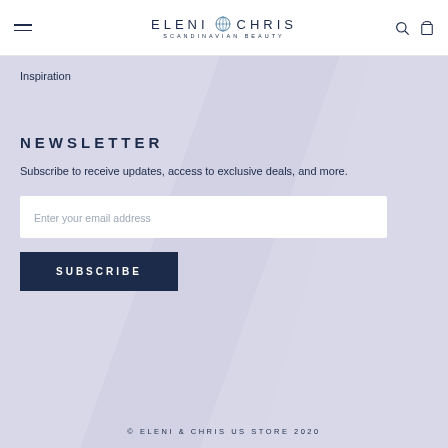ELENI & CHRIS SCANDINAVIAN BEAUTY
Inspiration
NEWSLETTER
Subscribe to receive updates, access to exclusive deals, and more.
Enter your email address
SUBSCRIBE
© ELENI & CHRIS US STORE 2020